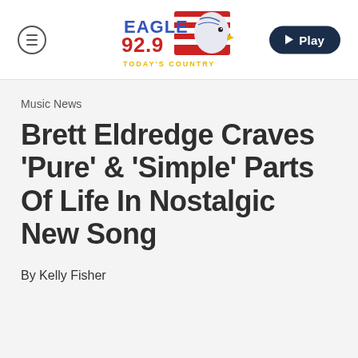Eagle 92.9 Today's Country — Menu | Play
Music News
Brett Eldredge Craves 'Pure' & 'Simple' Parts Of Life In Nostalgic New Song
By Kelly Fisher